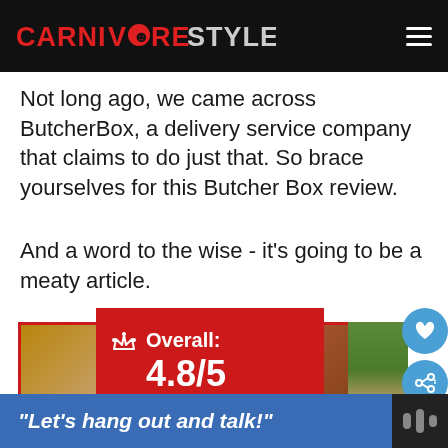CARNIVORE STYLE
Not long ago, we came across ButcherBox, a delivery service company that claims to do just that. So brace yourselves for this Butcher Box review.
And a word to the wise - it's going to be a meaty article.
[Figure (infographic): ButcherBox review card showing Overall: 4.8/5 rating in a red banner, with product image background and red outlined box. Heart and share buttons visible on right side.]
“Let’s hang out and talk!”